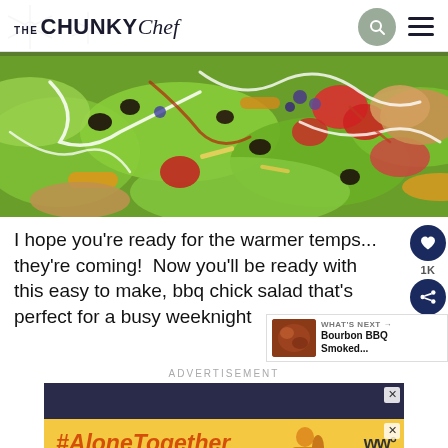THE CHUNKY Chef
[Figure (photo): Close-up photo of BBQ chicken salad with lettuce, tomatoes, black beans, corn, and drizzled dressing]
I hope you're ready for the warmer temps... they're coming!  Now you'll be ready with this easy to make, bbq chick salad that's perfect for a busy weeknight
WHAT'S NEXT → Bourbon BBQ Smoked...
ADVERTISEMENT
[Figure (screenshot): Advertisement banner with #AloneTogether hashtag in orange italic text on yellow background, with dark blue top section]